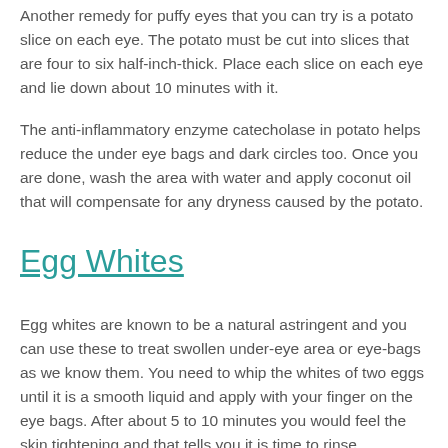Another remedy for puffy eyes that you can try is a potato slice on each eye. The potato must be cut into slices that are four to six half-inch-thick. Place each slice on each eye and lie down about 10 minutes with it.
The anti-inflammatory enzyme catecholase in potato helps reduce the under eye bags and dark circles too. Once you are done, wash the area with water and apply coconut oil that will compensate for any dryness caused by the potato.
Egg Whites
Egg whites are known to be a natural astringent and you can use these to treat swollen under-eye area or eye-bags as we know them. You need to whip the whites of two eggs until it is a smooth liquid and apply with your finger on the eye bags. After about 5 to 10 minutes you would feel the skin tightening and that tells you it is time to rinse